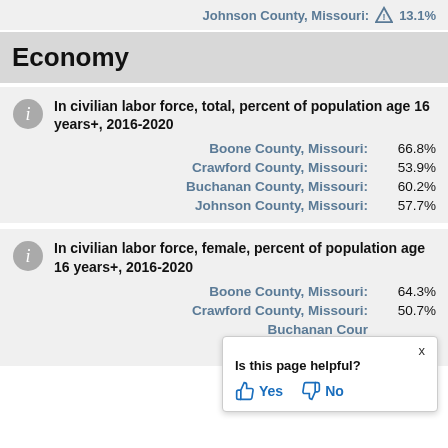Johnson County, Missouri: ⚠ 13.1%
Economy
In civilian labor force, total, percent of population age 16 years+, 2016-2020
Boone County, Missouri: 66.8%
Crawford County, Missouri: 53.9%
Buchanan County, Missouri: 60.2%
Johnson County, Missouri: 57.7%
In civilian labor force, female, percent of population age 16 years+, 2016-2020
Boone County, Missouri: 64.3%
Crawford County, Missouri: 50.7%
Buchanan County, Missouri: [partially obscured]
Johnson County, Missouri: [partially obscured]
Is this page helpful? Yes No